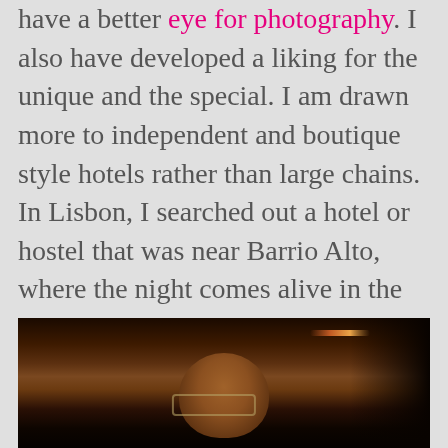have a better eye for photography.  I also have developed a liking for the unique and the special.  I am drawn more to independent and boutique style hotels rather than large chains.  In Lisbon, I searched out a hotel or hostel that was near Barrio Alto, where the night comes alive in the very narrowed streets near the center of the city.  Barrio Alto is so much fun.
[Figure (photo): A dark, dimly lit photo of a bald person wearing glasses, taken in a low-light indoor setting, possibly a bar or nightlife venue. A light streak is visible in the upper portion of the image.]